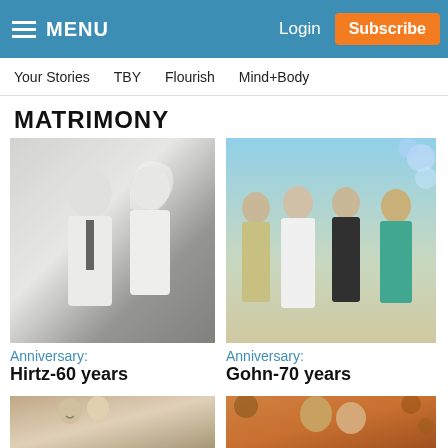MENU   Login   Subscribe
Your Stories   TBY   Flourish   Mind+Body
MATRIMONY
[Figure (photo): Black and white wedding photo of a couple, man in white shirt and tie, woman in wedding veil]
Anniversary:
Hirtz-60 years
[Figure (photo): Color photo of four people posing together at an anniversary celebration with blue balloon decorations, woman in white dress]
Anniversary:
Gohn-70 years
[Figure (photo): Vintage sepia-toned wedding photo of bride and groom]
[Figure (photo): Color photo of couple embracing outdoors among autumn leaves]